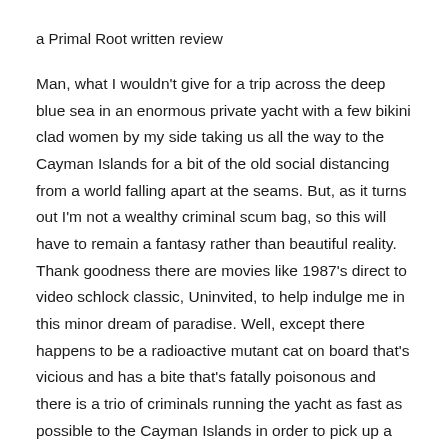a Primal Root written review
Man, what I wouldn't give for a trip across the deep blue sea in an enormous private yacht with a few bikini clad women by my side taking us all the way to the Cayman Islands for a bit of the old social distancing from a world falling apart at the seams. But, as it turns out I'm not a wealthy criminal scum bag, so this will have to remain a fantasy rather than beautiful reality. Thank goodness there are movies like 1987's direct to video schlock classic, Uninvited, to help indulge me in this minor dream of paradise. Well, except there happens to be a radioactive mutant cat on board that's vicious and has a bite that's fatally poisonous and there is a trio of criminals running the yacht as fast as possible to the Cayman Islands in order to pick up a ton of money they garnered from their